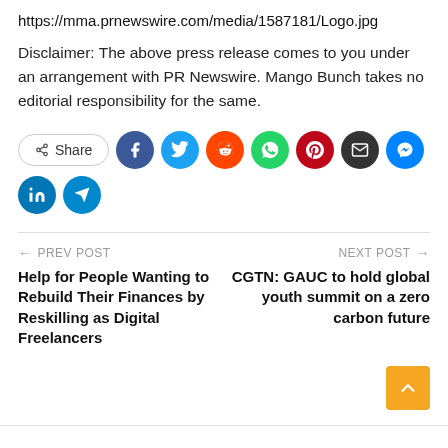https://mma.prnewswire.com/media/1587181/Logo.jpg
Disclaimer: The above press release comes to you under an arrangement with PR Newswire. Mango Bunch takes no editorial responsibility for the same.
[Figure (infographic): Social share buttons row: Share button, Facebook, Twitter, Reddit, WhatsApp, Pinterest, Email, Messenger, LinkedIn, Telegram]
← PREV POST
Help for People Wanting to Rebuild Their Finances by Reskilling as Digital Freelancers
NEXT POST →
CGTN: GAUC to hold global youth summit on a zero carbon future